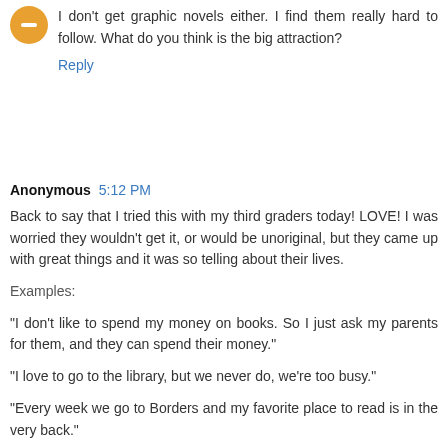I don't get graphic novels either. I find them really hard to follow. What do you think is the big attraction?
Reply
Anonymous 5:12 PM
Back to say that I tried this with my third graders today! LOVE! I was worried they wouldn't get it, or would be unoriginal, but they came up with great things and it was so telling about their lives.
Examples:
"I don't like to spend my money on books. So I just ask my parents for them, and they can spend their money."
"I love to go to the library, but we never do, we're too busy."
"Every week we go to Borders and my favorite place to read is in the very back."
"I've never read a word in a book that I didn't know."